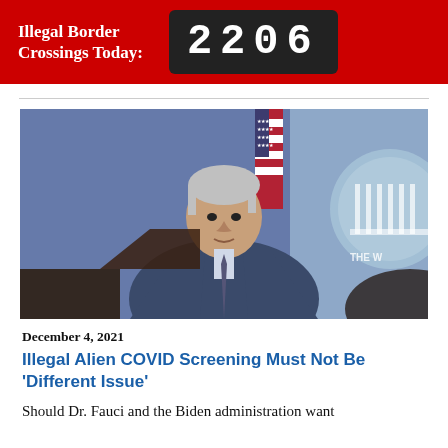Illegal Border Crossings Today: 2206
[Figure (photo): Dr. Fauci speaking at a White House briefing podium, wearing a blue suit and striped tie, with an American flag and White House logo in background]
December 4, 2021
Illegal Alien COVID Screening Must Not Be 'Different Issue'
Should Dr. Fauci and the Biden administration want